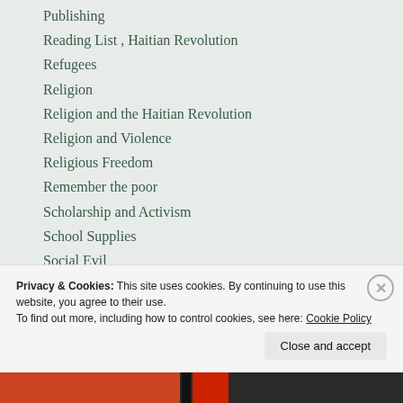Publishing
Reading List , Haitian Revolution
Refugees
Religion
Religion and the Haitian Revolution
Religion and Violence
Religious Freedom
Remember the poor
Scholarship and Activism
School Supplies
Social Evil
Social Justice
Spirituality
The Bible
Privacy & Cookies: This site uses cookies. By continuing to use this website, you agree to their use.
To find out more, including how to control cookies, see here: Cookie Policy
Close and accept